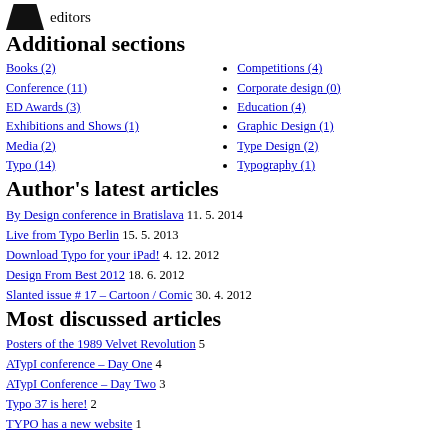editors
Additional sections
Books (2)
Conference (11)
ED Awards (3)
Exhibitions and Shows (1)
Media (2)
Typo (14)
Competitions (4)
Corporate design (0)
Education (4)
Graphic Design (1)
Type Design (2)
Typography (1)
Author's latest articles
By Design conference in Bratislava 11. 5. 2014
Live from Typo Berlin 15. 5. 2013
Download Typo for your iPad! 4. 12. 2012
Design From Best 2012 18. 6. 2012
Slanted issue # 17 – Cartoon / Comic 30. 4. 2012
Most discussed articles
Posters of the 1989 Velvet Revolution 5
ATypI conference – Day One 4
ATypI Conference – Day Two 3
Typo 37 is here! 2
TYPO has a new website 1